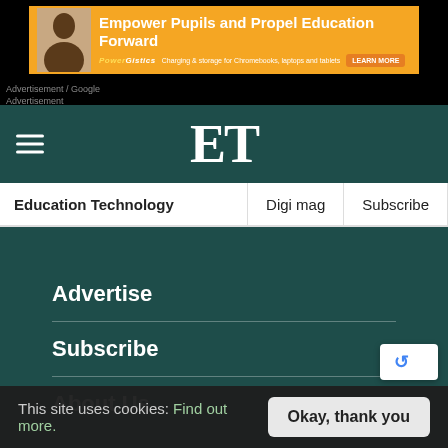[Figure (screenshot): Advertisement banner with orange background showing 'Empower Pupils and Propel Education Forward' with PowerGistics branding and 'Charging & storage for Chromebooks, laptops and tablets' and a LEARN MORE button]
Advertisement / Google
Advertisement
ET
Education Technology
Digi mag
Subscribe
Advertise
Subscribe
About Us
This site uses cookies: Find out more.
Okay, thank you